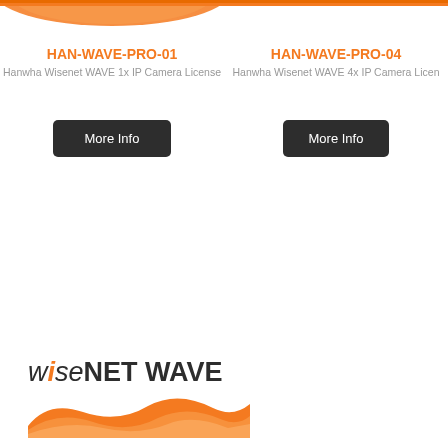[Figure (illustration): Wisenet WAVE product card top wave decoration - left card]
[Figure (illustration): Wisenet WAVE product card top wave decoration - right card]
HAN-WAVE-PRO-01
HAN-WAVE-PRO-04
Hanwha Wisenet WAVE 1x IP Camera License
Hanwha Wisenet WAVE 4x IP Camera License
[Figure (illustration): More Info button - left product]
[Figure (illustration): More Info button - right product]
[Figure (logo): Wisenet WAVE logo with orange wave graphic at bottom]